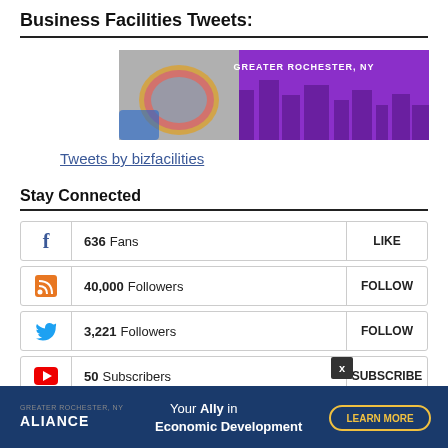Business Facilities Tweets:
[Figure (photo): Advertisement banner for Greater Rochester, NY showing a semiconductor wafer and purple cityscape silhouette]
Tweets by bizfacilities
Stay Connected
636  Fans  LIKE
40,000  Followers  FOLLOW
3,221  Followers  FOLLOW
50  Subscribers  SUBSCRIBE
[Figure (photo): Alliance advertisement: Your Ally in Economic Development - Learn More]